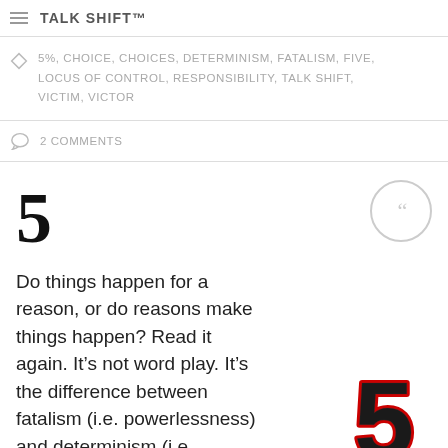TALK SHIFT™
5%, CHOICE, CHOICES, DETERMINISM, FATALISM, FIVE, LOCUS OF CONTROL, RESPONSIBILITY, TALK SHIFT, VICTIM, VICTOR
2 COMMENTS
5
Do things happen for a reason, or do reasons make things happen? Read it again. It's not word play. It's the difference between fatalism (i.e. powerlessness) and determinism (i.e.
[Figure (illustration): Large stylized number 5 in dark/black with red outline border, 3D effect, placed in bottom right of content area]